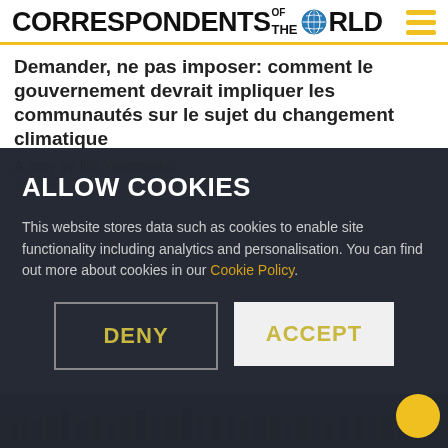CORRESPONDENTS OF THE WORLD
Demander, ne pas imposer: comment le gouvernement devrait impliquer les communautés sur le sujet du changement climatique
A story by Illia Yeremenko
4 min
ALLOW COOKIES
This website stores data such as cookies to enable site functionality including analytics and personalisation. You can find out more about cookies in our Cookie Policy.
DENY
ACCEPT
[Figure (photo): Aerial view of a city skyline at the bottom of the page]